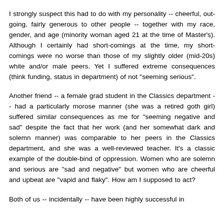I strongly suspect this had to do with my personality -- cheerful, out-going, fairly generous to other people -- together with my race, gender, and age (minority woman aged 21 at the time of Master's). Although I certainly had short-comings at the time, my short-comings were no worse than those of my slightly older (mid-20s) white and/or male peers. Yet I suffered extreme consequences (think funding, status in department) of not "seeming serious".
Another friend -- a female grad student in the Classics department -- had a particularly morose manner (she was a retired goth girl) suffered similar consequences as me for "seeming negative and sad" despite the fact that her work (and her somewhat dark and solemn manner) was comparable to her peers in the Classics department, and she was a well-reviewed teacher. It's a classic example of the double-bind of oppression. Women who are solemn and serious are "sad and negative" but women who are cheerful and upbeat are "vapid and flaky". How am I supposed to act?
Both of us -- incidentally -- have been highly successful in